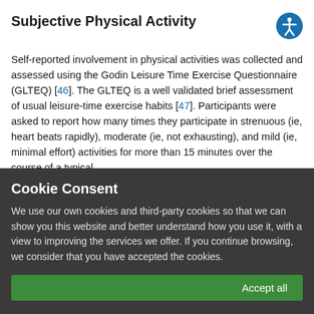Subjective Physical Activity
Self-reported involvement in physical activities was collected and assessed using the Godin Leisure Time Exercise Questionnaire (GLTEQ) [46]. The GLTEQ is a well validated brief assessment of usual leisure-time exercise habits [47]. Participants were asked to report how many times they participate in strenuous (ie, heart beats rapidly), moderate (ie, not exhausting), and mild (ie, minimal effort) activities for more than 15 minutes over the course of a typical week (ie, seven-day period). The reported frequencies of strenuous
Cookie Consent
We use our own cookies and third-party cookies so that we can show you this website and better understand how you use it, with a view to improving the services we offer. If you continue browsing, we consider that you have accepted the cookies.